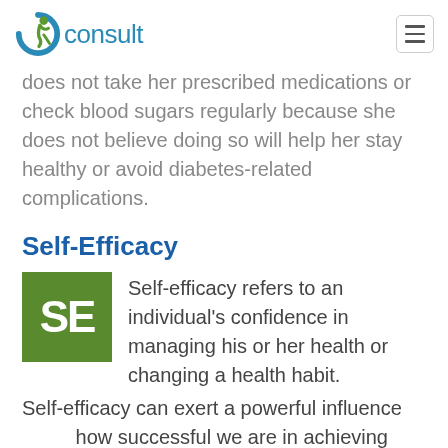Qconsult
does not take her prescribed medications or check blood sugars regularly because she does not believe doing so will help her stay healthy or avoid diabetes-related complications.
Self-Efficacy
[Figure (illustration): Green square icon with white letters SE]
Self-efficacy refers to an individual's confidence in managing his or her health or changing a health habit. Self-efficacy can exert a powerful influence how successful we are in achieving important